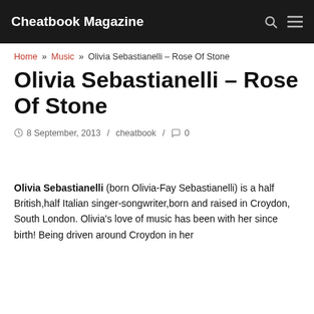Cheatbook Magazine
Home » Music » Olivia Sebastianelli – Rose Of Stone
Olivia Sebastianelli – Rose Of Stone
8 September, 2013 / cheatbook / 0
Olivia Sebastianelli (born Olivia-Fay Sebastianelli) is a half British,half Italian singer-songwriter,born and raised in Croydon, South London. Olivia's love of music has been with her since birth! Being driven around Croydon in her